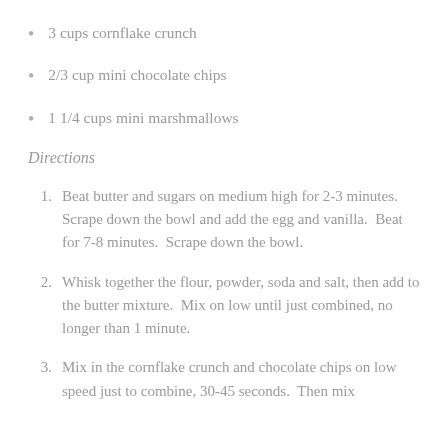3 cups cornflake crunch
2/3 cup mini chocolate chips
1 1/4 cups mini marshmallows
Directions
Beat butter and sugars on medium high for 2-3 minutes.  Scrape down the bowl and add the egg and vanilla.  Beat for 7-8 minutes.  Scrape down the bowl.
Whisk together the flour, powder, soda and salt, then add to the butter mixture.  Mix on low until just combined, no longer than 1 minute.
Mix in the cornflake crunch and chocolate chips on low speed just to combine, 30-45 seconds.  Then mix